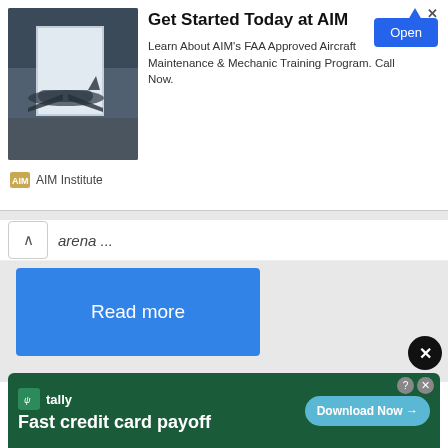[Figure (screenshot): Advertisement banner for AIM Institute showing aircraft maintenance hangar image, headline 'Get Started Today at AIM', description about FAA Approved Aircraft Maintenance & Mechanic Training Program, Open button, and AIM Institute logo.]
arena ...
Read more
Garena Free Fire Reward Redeem Code 25 January 2022
Advance Server, ...
[Figure (screenshot): Tally advertisement banner: Fast credit card payoff, Download Now button, with help and close icons.]